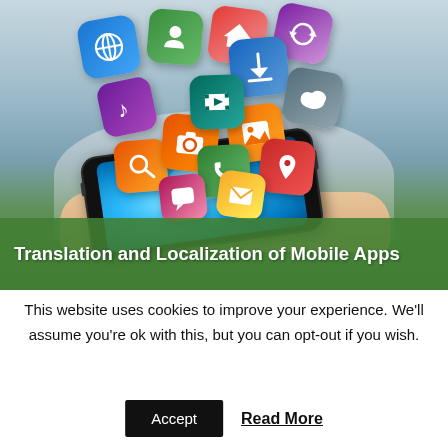[Figure (photo): A person holding a smartphone horizontally with colorful app icons floating above it, on a green and blue background. The image has a green banner overlay at the bottom with white bold text.]
Translation and Localization of Mobile Apps
This website uses cookies to improve your experience. We'll assume you're ok with this, but you can opt-out if you wish.
Accept   Read More